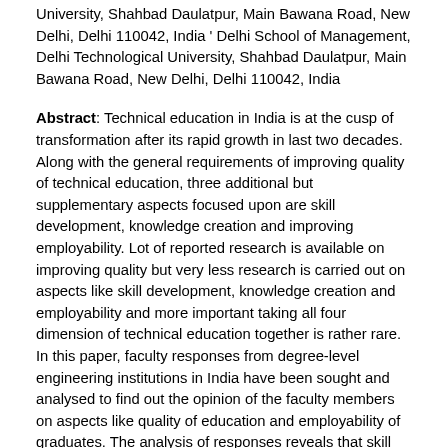University, Shahbad Daulatpur, Main Bawana Road, New Delhi, Delhi 110042, India ' Delhi School of Management, Delhi Technological University, Shahbad Daulatpur, Main Bawana Road, New Delhi, Delhi 110042, India
Abstract: Technical education in India is at the cusp of transformation after its rapid growth in last two decades. Along with the general requirements of improving quality of technical education, three additional but supplementary aspects focused upon are skill development, knowledge creation and improving employability. Lot of reported research is available on improving quality but very less research is carried out on aspects like skill development, knowledge creation and employability and more important taking all four dimension of technical education together is rather rare. In this paper, faculty responses from degree-level engineering institutions in India have been sought and analysed to find out the opinion of the faculty members on aspects like quality of education and employability of graduates. The analysis of responses reveals that skill development and knowledge creation are the two important outputs of quality education which lead to the employability of the students.